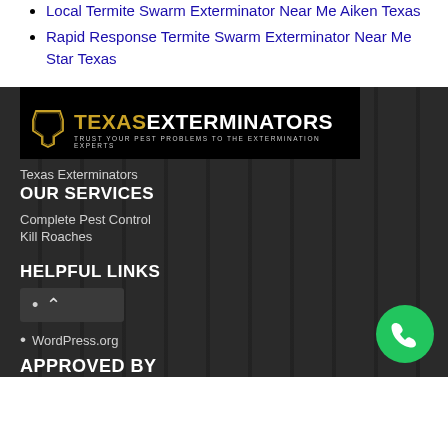Local Termite Swarm Exterminator Near Me Aiken Texas
Rapid Response Termite Swarm Exterminator Near Me Star Texas
[Figure (logo): Texas Exterminators logo — black banner with gold Texas state outline, text TEXAS in gold and EXTERMINATORS in white, tagline TRUST YOUR PEST PROBLEMS TO THE EXTERMINATION EXPERTS]
Texas Exterminators
OUR SERVICES
Complete Pest Control
Kill Roaches
HELPFUL LINKS
WordPress.org
APPROVED BY